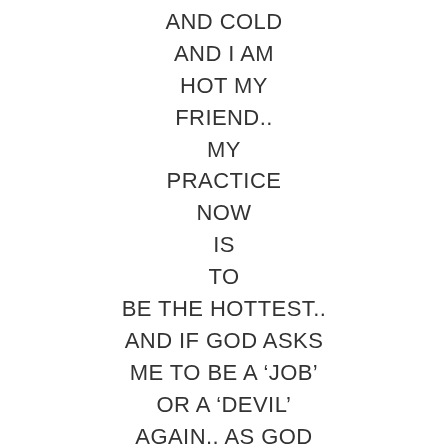AND COLD
AND I AM
HOT MY
FRIEND..
MY
PRACTICE
NOW
IS
TO
BE THE HOTTEST..
AND IF GOD ASKS
ME TO BE A 'JOB'
OR A 'DEVIL'
AGAIN.. AS GOD
ALREADY DOES..
I WILL OBEY